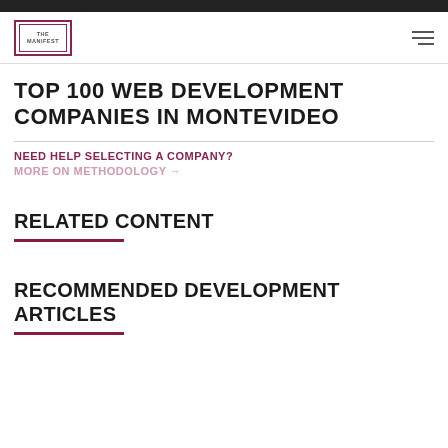THE MANIFEST
TOP 100 WEB DEVELOPMENT COMPANIES IN MONTEVIDEO
NEED HELP SELECTING A COMPANY?
MORE ON METHODOLOGY →
RELATED CONTENT
RECOMMENDED DEVELOPMENT ARTICLES